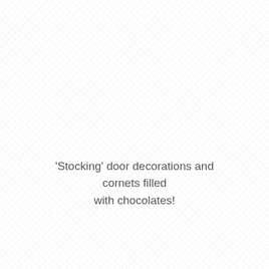'Stocking' door decorations and cornets filled with chocolates!